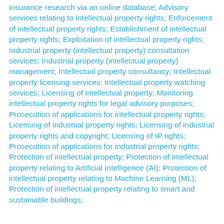insurance research via an online database; Advisory services relating to intellectual property rights; Enforcement of intellectual property rights; Establishment of intellectual property rights; Exploitation of intellectual property rights; Industrial property (intellectual property) consultation services; Industrial property (intellectual property) management; Intellectual property consultancy; Intellectual property licensing services; Intellectual property watching services; Licensing of intellectual property; Monitoring intellectual property rights for legal advisory purposes; Prosecution of applications for intellectual property rights; Licensing of industrial property rights; Licensing of industrial property rights and copyright; Licensing of IP rights; Prosecution of applications for industrial property rights; Protection of intellectual property; Protection of intellectual property relating to Artificial Intelligence (AI); Protection of intellectual property relating to Machine Learning (ML); Protection of intellectual property relating to smart and sustainable buildings;